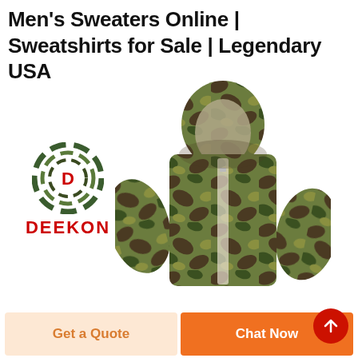Men's Sweaters Online | Sweatshirts for Sale | Legendary USA
[Figure (logo): Deekon brand logo: circular target/crosshair design in camouflage green with red D letter in center, and DEEKON text in red below]
[Figure (photo): Camouflage hooded jacket/sweatshirt with woodland DPM pattern in greens and browns, shown on white background]
Get a Quote
Chat Now